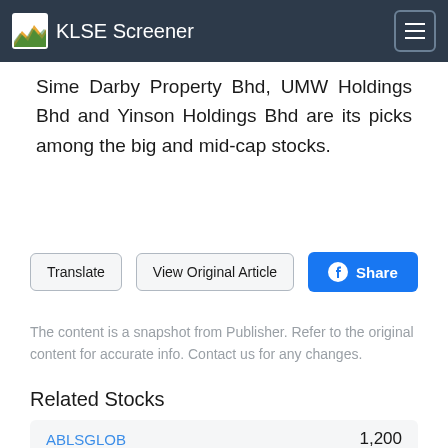KLSE Screener
Sime Darby Property Bhd, UMW Holdings Bhd and Yinson Holdings Bhd are its picks among the big and mid-cap stocks.
Translate | View Original Article | Share
The content is a snapshot from Publisher. Refer to the original content for accurate info. Contact us for any changes.
Related Stocks
ABLSGLOB  1,200